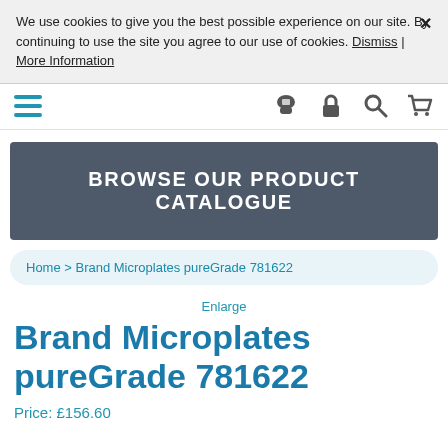We use cookies to give you the best possible experience on our site. By continuing to use the site you agree to our use of cookies. Dismiss | More Information
Navigation bar with hamburger menu, phone, lock, search, and cart icons
BROWSE OUR PRODUCT CATALOGUE
Home > Brand Microplates pureGrade 781622
Enlarge
Brand Microplates pureGrade 781622
Price: £156.60